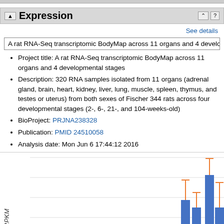Expression
See details
A rat RNA-Seq transcriptomic BodyMap across 11 organs and 4 develo...
Project title: A rat RNA-Seq transcriptomic BodyMap across 11 organs and 4 developmental stages
Description: 320 RNA samples isolated from 11 organs (adrenal gland, brain, heart, kidney, liver, lung, muscle, spleen, thymus, and testes or uterus) from both sexes of Fischer 344 rats across four developmental stages (2-, 6-, 21-, and 104-weeks-old)
BioProject: PRJNA238328
Publication: PMID 24510058
Analysis date: Mon Jun 6 17:44:12 2016
[Figure (bar-chart): Partial bar chart visible at bottom of page showing expression data with blue bars and orange error bars. Y-axis label partially visible (likely RPKM or similar). Only the rightmost bars are visible.]